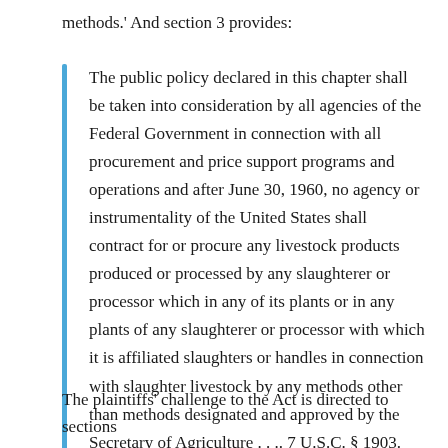methods.' And section 3 provides:
The public policy declared in this chapter shall be taken into consideration by all agencies of the Federal Government in connection with all procurement and price support programs and operations and after June 30, 1960, no agency or instrumentality of the United States shall contract for or procure any livestock products produced or processed by any slaughterer or processor which in any of its plants or in any plants of any slaughterer or processor with which it is affiliated slaughters or handles in connection with slaughter livestock by any methods other than methods designated and approved by the Secretary of Agriculture . . .. 7 U.S.C. § 1903.
The plaintiffs' challenge to the Act is directed to sections